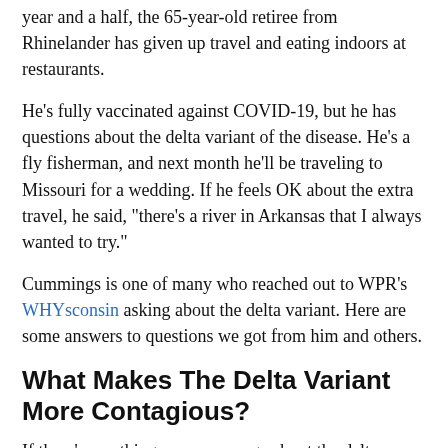year and a half, the 65-year-old retiree from Rhinelander has given up travel and eating indoors at restaurants.
He's fully vaccinated against COVID-19, but he has questions about the delta variant of the disease. He's a fly fisherman, and next month he'll be traveling to Missouri for a wedding. If he feels OK about the extra travel, he said, "there's a river in Arkansas that I always wanted to try."
Cummings is one of many who reached out to WPR's WHYsconsin asking about the delta variant. Here are some answers to questions we got from him and others.
What Makes The Delta Variant More Contagious?
If there's one thing news coverage about the delta variant of COVID-19 has emphasized, it's the fact that the mutation makes the virus more easily transmissible. But it's harder to understand why that's the case.